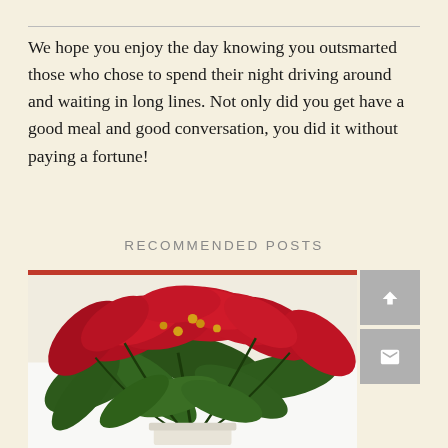We hope you enjoy the day knowing you outsmarted those who chose to spend their night driving around and waiting in long lines. Not only did you get have a good meal and good conversation, you did it without paying a fortune!
RECOMMENDED POSTS
[Figure (photo): A poinsettia plant with red bracts and green leaves in a white pot, with a red horizontal bar at the top of the image. Two gray sidebar buttons on the right: an up-arrow button and a mail/envelope button.]